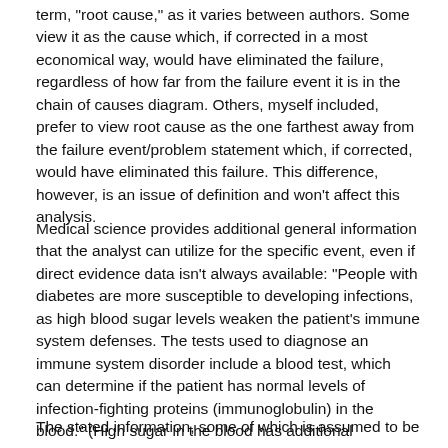term, "root cause," as it varies between authors. Some view it as the cause which, if corrected in a most economical way, would have eliminated the failure, regardless of how far from the failure event it is in the chain of causes diagram. Others, myself included, prefer to view root cause as the one farthest away from the failure event/problem statement which, if corrected, would have eliminated this failure. This difference, however, is an issue of definition and won't affect this analysis.
Medical science provides additional general information that the analyst can utilize for the specific event, even if direct evidence data isn't always available: "People with diabetes are more susceptible to developing infections, as high blood sugar levels weaken the patient's immune system defenses. The tests used to diagnose an immune system disorder include a blood test, which can determine if the patient has normal levels of infection-fighting proteins (immunoglobulin) in the blood." (High sugar in the blood has additional detrimental effects on the heart, neural system, etc., but won't be included for simplicity purposes.)
The stated information, some of which is assumed to be